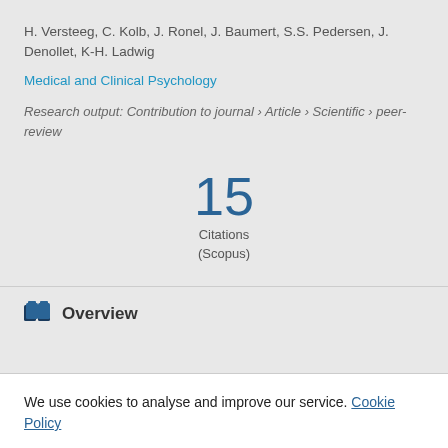H. Versteeg, C. Kolb, J. Ronel, J. Baumert, S.S. Pedersen, J. Denollet, K-H. Ladwig
Medical and Clinical Psychology
Research output: Contribution to journal › Article › Scientific › peer-review
15 Citations (Scopus)
Overview
We use cookies to analyse and improve our service. Cookie Policy